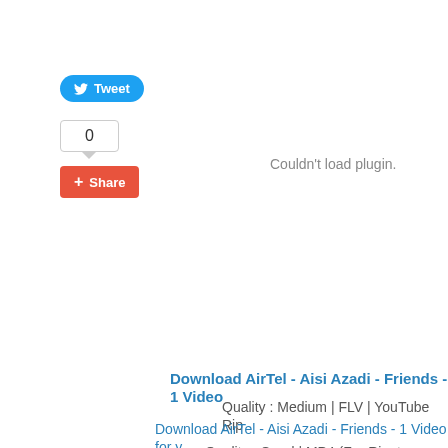[Figure (other): Twitter Tweet button (blue rounded pill with bird icon and 'Tweet' text)]
[Figure (other): Tweet count box showing '0' with a downward pointer, and a red Google+1 Share button below]
Couldn't load plugin.
Download AirTel - Aisi Azadi - Friends - 1 Video
Quality : Medium | FLV | YouTube Rip
Download AirTel - Aisi Azadi - Friends - 1 Video for y
Quality : Good | MP4 (For Ringtone Click Her